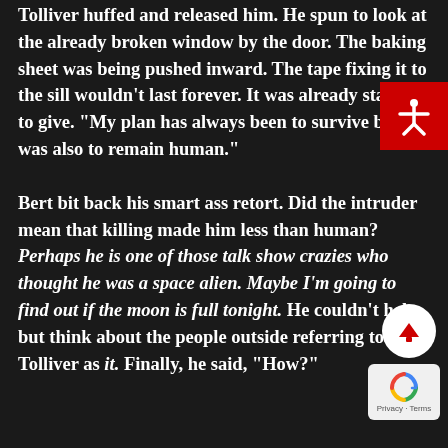Tolliver huffed and released him. He spun to look at the already broken window by the door. The baking sheet was being pushed inward. The tape fixing it to the sill wouldn't last forever. It was already starting to give. "My plan has always been to survive but it was also to remain human."

Bert bit back his smart ass retort. Did the intruder mean that killing made him less than human? Perhaps he is one of those talk show crazies who thought he was a space alien. Maybe I'm going to find out if the moon is full tonight. He couldn't help but think about the people outside referring to Tolliver as it. Finally, he said, "How?"
[Figure (other): Red accessibility icon button (white stick figure with arms outstretched) in top-right corner]
[Figure (other): White circular scroll-up button with red upward arrow, bottom-right area]
[Figure (other): reCAPTCHA badge with blue recycle-style logo and 'Privacy - Terms' text, bottom-right corner]